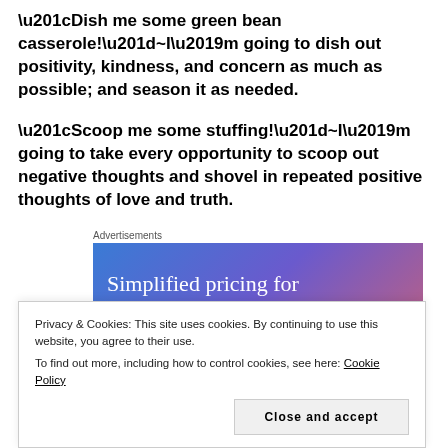“Dish me some green bean casserole!”~I’m going to dish out positivity, kindness, and concern as much as possible; and season it as needed.
“Scoop me some stuffing!”~I’m going to take every opportunity to scoop out negative thoughts and shovel in repeated positive thoughts of love and truth.
[Figure (other): Advertisement banner with gradient background (blue to purple to pink) displaying text: 'Simplified pricing for everything you need']
Privacy & Cookies: This site uses cookies. By continuing to use this website, you agree to their use.
To find out more, including how to control cookies, see here: Cookie Policy